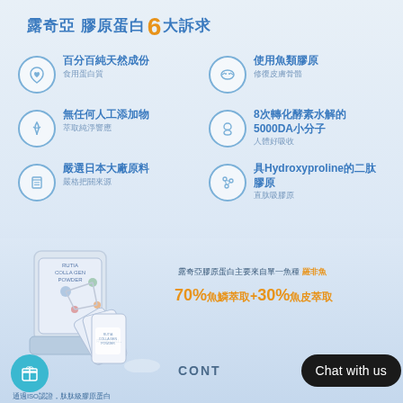露奇亞 膠原蛋白6大訴求
百分百純天然成份 食用蛋白質
使用魚類膠原 修復皮膚骨骼
無任何人工添加物 萃取純淨響應
8次轉化酵素水解的5000DA小分子 人體好吸收
嚴選日本大廠原料 嚴格把關來源
具Hydroxyproline的二肽膠原 直肽吸膠原
[Figure (photo): Product photo of Rutia Collagen Powder box and sachets on light blue background]
露奇亞膠原蛋白主要來自單一魚種 羅非魚 70%魚鱗萃取+30%魚皮萃取
CONT
Chat with us
通過ISO認證，肽肽級膠原蛋白